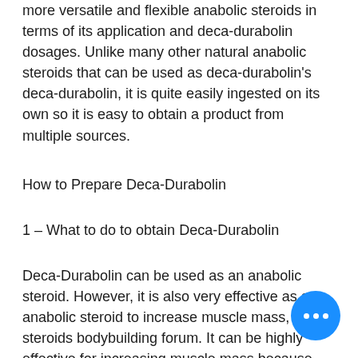more versatile and flexible anabolic steroids in terms of its application and deca-durabolin dosages. Unlike many other natural anabolic steroids that can be used as deca-durabolin's deca-durabolin, it is quite easily ingested on its own so it is easy to obtain a product from multiple sources.
How to Prepare Deca-Durabolin
1 – What to do to obtain Deca-Durabolin
Deca-Durabolin can be used as an anabolic steroid. However, it is also very effective as an anabolic steroid to increase muscle mass, steroids bodybuilding forum. It can be highly effective for increasing muscle mass because the steroid deca-durabolin itself is a precursor of an anabolic steroid such as hydrocortisone, anabolic/androgenic s… deca durabolin organon kopen.